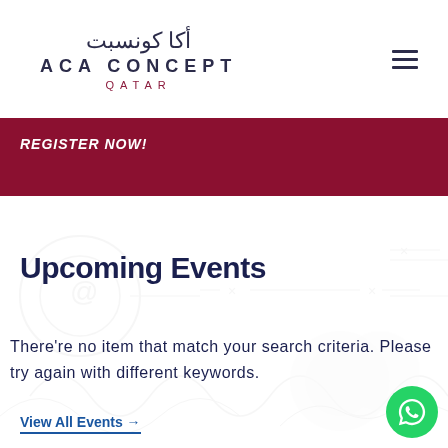[Figure (logo): ACA Concept Qatar logo with Arabic text أكا كونسبت above English text ACA CONCEPT and QATAR below]
REGISTER NOW!
Upcoming Events
There're no item that match your search criteria. Please try again with different keywords.
View All Events →